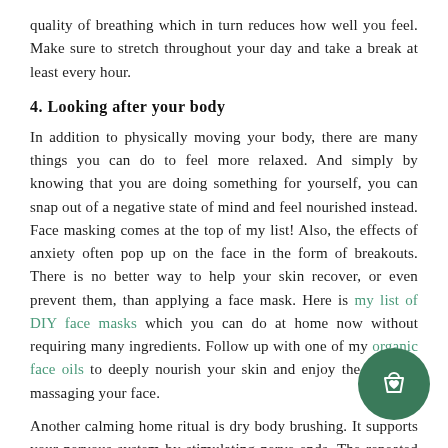quality of breathing which in turn reduces how well you feel. Make sure to stretch throughout your day and take a break at least every hour.
4. Looking after your body
In addition to physically moving your body, there are many things you can do to feel more relaxed. And simply by knowing that you are doing something for yourself, you can snap out of a negative state of mind and feel nourished instead. Face masking comes at the top of my list! Also, the effects of anxiety often pop up on the face in the form of breakouts. There is no better way to help your skin recover, or even prevent them, than applying a face mask. Here is my list of DIY face masks which you can do at home now without requiring many ingredients. Follow up with one of my organic face oils to deeply nourish your skin and enjoy the ritual of massaging your face.
Another calming home ritual is dry body brushing. It supports your nervous system by stimulating nerve ends. The repeated calming motions of dry brushing also
[Figure (other): Green circular shopping bag button icon in bottom right corner]